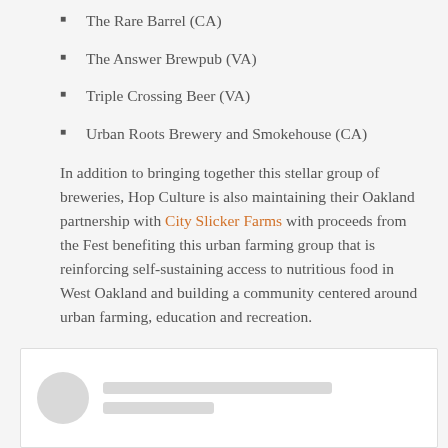The Rare Barrel (CA)
The Answer Brewpub (VA)
Triple Crossing Beer (VA)
Urban Roots Brewery and Smokehouse (CA)
In addition to bringing together this stellar group of breweries, Hop Culture is also maintaining their Oakland partnership with City Slicker Farms with proceeds from the Fest benefiting this urban farming group that is reinforcing self-sustaining access to nutritious food in West Oakland and building a community centered around urban farming, education and recreation.
[Figure (screenshot): Embedded social media or link preview card with a circular avatar placeholder and two grey loading bars representing text content]